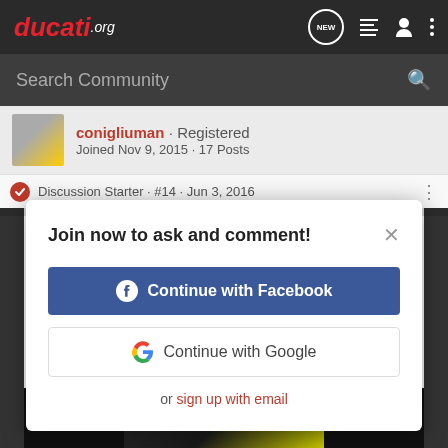ducati.org — navigation bar with NEW, list, user, and menu icons
Search Community
conigliuman · Registered
Joined Nov 9, 2015 · 17 Posts
Discussion Starter · #14 · Jun 3, 2016
Join now to ask and comment!
Continue with Facebook
Continue with Google
or sign up with email